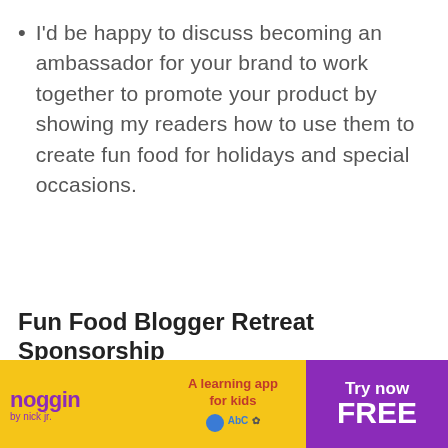I'd be happy to discuss becoming an ambassador for your brand to work together to promote your product by showing my readers how to use them to create fun food for holidays and special occasions.
Fun Food Blogger Retreat Sponsorship
Partner with Hungry Happenings and a group of food bloggers for a Fun Food Blogger Retreat and
[Figure (other): Advertisement banner for Noggin by Nick Jr. - a learning app for kids. Features Blue's Clues character, yellow background on left, purple section on right with 'Try now FREE' text.]